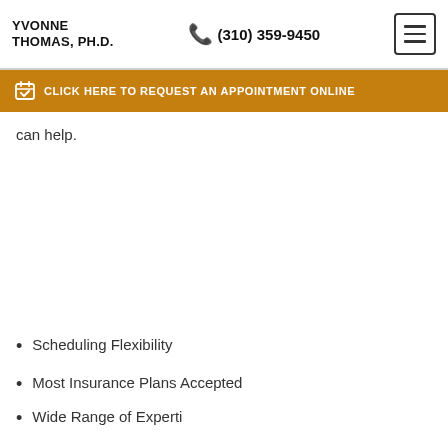YVONNE THOMAS, PH.D. | (310) 359-9450
CLICK HERE TO REQUEST AN APPOINTMENT ONLINE
can help.
Scheduling Flexibility
Most Insurance Plans Accepted
Wide Range of Expertise (partial)